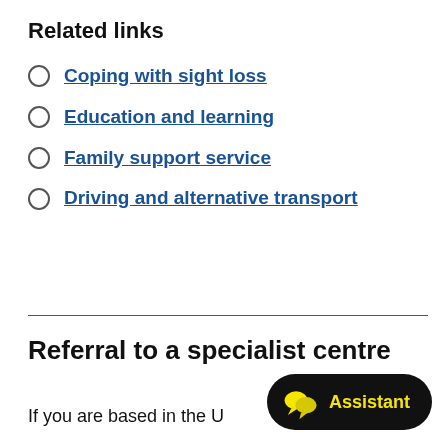Related links
Coping with sight loss
Education and learning
Family support service
Driving and alternative transport
Referral to a specialist centre
If you are based in the U...